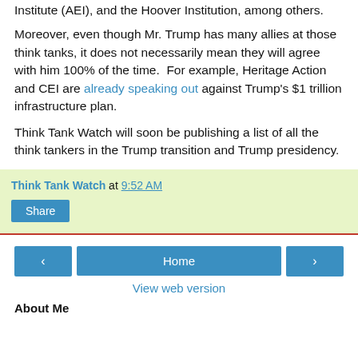Institute (AEI), and the Hoover Institution, among others.
Moreover, even though Mr. Trump has many allies at those think tanks, it does not necessarily mean they will agree with him 100% of the time.  For example, Heritage Action and CEI are already speaking out against Trump's $1 trillion infrastructure plan.
Think Tank Watch will soon be publishing a list of all the think tankers in the Trump transition and Trump presidency.
Think Tank Watch at 9:52 AM
Share
Home
View web version
About Me